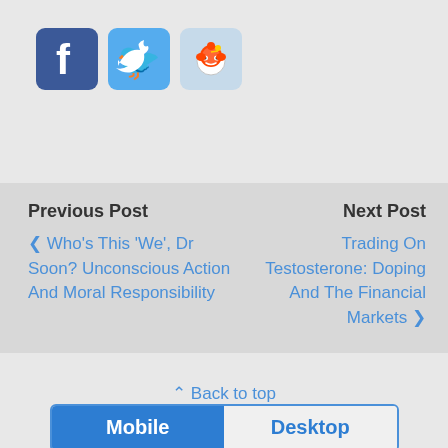[Figure (logo): Social media sharing icons: Facebook (blue rounded square with white F), Twitter (light blue rounded square with white bird), Reddit (light blue/grey rounded square with Reddit alien mascot)]
Previous Post
< Who's This 'We', Dr Soon? Unconscious Action And Moral Responsibility
Next Post
Trading On Testosterone: Doping And The Financial Markets >
⇑ Back to top
Mobile  Desktop
All content Copyright University of Oxford